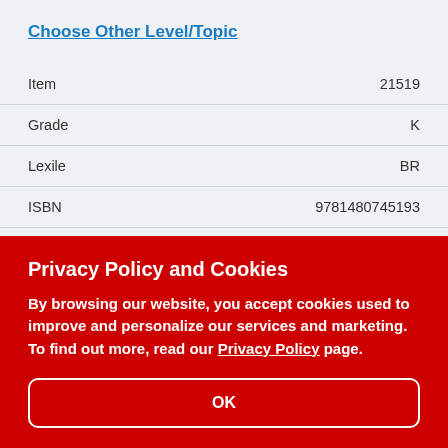Choose Other Level/Topic
| Field | Value |
| --- | --- |
| Item | 21519 |
| Grade | K |
| Lexile | BR |
| ISBN | 9781480745193 |
| Language | English |
Privacy Policy and Cookies
By browsing our website, you accept cookies used to improve and personalize our services and marketing. To find out more, read our Privacy Policy page.
OK